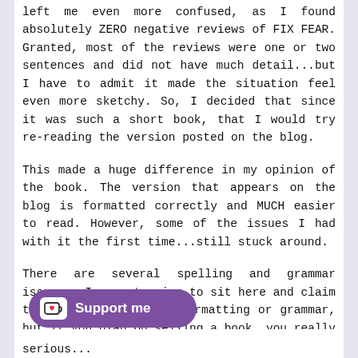left me even more confused, as I found absolutely ZERO negative reviews of FIX FEAR. Granted, most of the reviews were one or two sentences and did not have much detail...but I have to admit it made the situation feel even more sketchy. So, I decided that since it was such a short book, that I would try re-reading the version posted on the blog.
This made a huge difference in my opinion of the book. The version that appears on the blog is formatted correctly and MUCH easier to read. However, some of the issues I had with it the first time...still stuck around.
There are several spelling and grammar issues.  I am not going to sit here and claim to be the champion of formatting or grammar, but if you plan on selling a book, you really need to take some extra steps if you want to be taken
[Figure (other): Ko-fi support button with heart icon and text 'Support me' on purple rounded background]
serious...